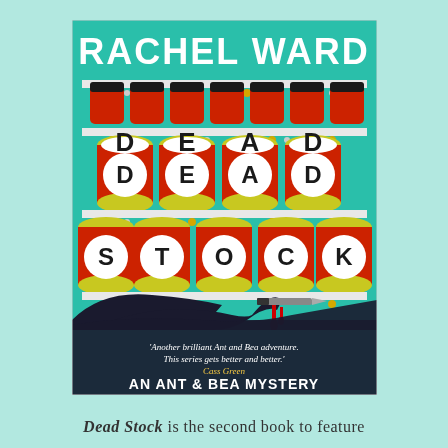[Figure (illustration): Book cover of 'Dead Stock' by Rachel Ward. Teal/green background with shelving unit. Top shelf shows a row of dark red tin cans. Middle shelves show red and yellow cans spelling out 'DEAD STOCK' in bold black letters on white circles. A dark silhouette of a hand reaches from bottom left with a knife dripping blood. Bottom section has a quote 'Another brilliant Ant and Bea adventure. This series gets better and better.' Cass Green and text 'AN ANT & BEA MYSTERY'.]
Dead Stock is the second book to feature